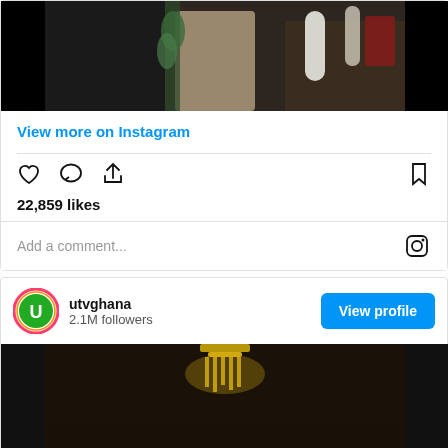[Figure (photo): Instagram post photo showing people at what appears to be an event or gathering, partially visible]
View more on Instagram
22,859 likes
Add a comment...
[Figure (photo): Second Instagram post from utvghana showing a chandelier and event venue with pink lighting at bottom]
utvghana
2.1M followers